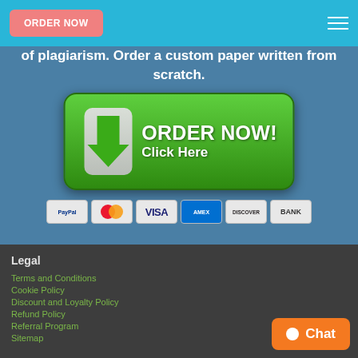ORDER NOW
of plagiarism. Order a custom paper written from scratch.
[Figure (illustration): Green ORDER NOW! Click Here button with white downward arrow icon]
[Figure (illustration): Payment method icons: PayPal, Mastercard, VISA, AMEX, Discover, BANK]
Legal
Terms and Conditions
Cookie Policy
Discount and Loyalty Policy
Refund Policy
Referral Program
Sitemap